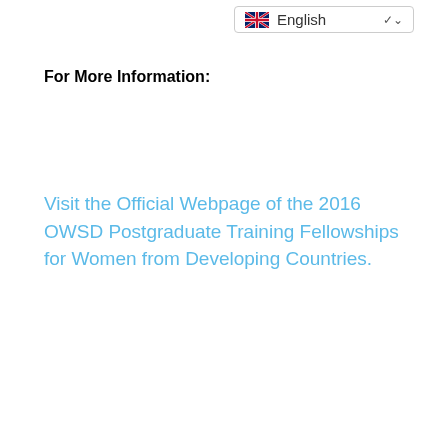English
For More Information:
Visit the Official Webpage of the 2016 OWSD Postgraduate Training Fellowships for Women from Developing Countries.